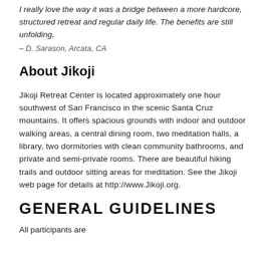I really love the way it was a bridge between a more hardcore, structured retreat and regular daily life. The benefits are still unfolding.
– D. Sarason, Arcata, CA
About Jikoji
Jikoji Retreat Center is located approximately one hour southwest of San Francisco in the scenic Santa Cruz mountains. It offers spacious grounds with indoor and outdoor walking areas, a central dining room, two meditation halls, a library, two dormitories with clean community bathrooms, and private and semi-private rooms. There are beautiful hiking trails and outdoor sitting areas for meditation. See the Jikoji web page for details at http://www.Jikoji.org.
GENERAL GUIDELINES
All participants are